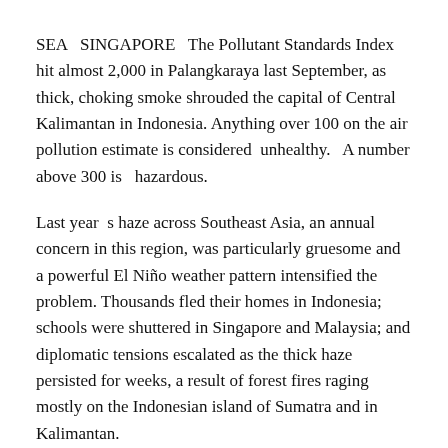SEA   SINGAPORE   The Pollutant Standards Index hit almost 2,000 in Palangkaraya last September, as thick, choking smoke shrouded the capital of Central Kalimantan in Indonesia. Anything over 100 on the air pollution estimate is considered  unhealthy.  A number above 300 is  hazardous.
Last year  s haze across Southeast Asia, an annual concern in this region, was particularly gruesome and a powerful El Niño weather pattern intensified the problem. Thousands fled their homes in Indonesia; schools were shuttered in Singapore and Malaysia; and diplomatic tensions escalated as the thick haze persisted for weeks, a result of forest fires raging mostly on the Indonesian island of Sumatra and in Kalimantan.
But the human impact of the haze was far more